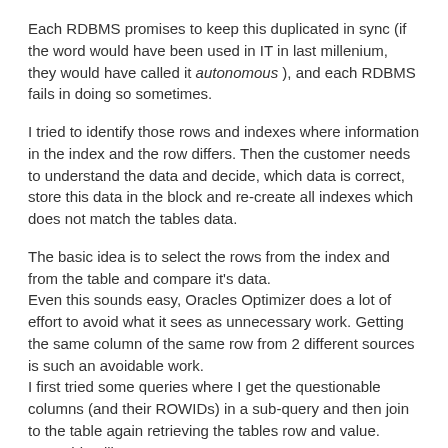Each RDBMS promises to keep this duplicated in sync (if the word would have been used in IT in last millenium, they would have called it autonomous ), and each RDBMS fails in doing so sometimes.
I tried to identify those rows and indexes where information in the index and the row differs. Then the customer needs to understand the data and decide, which data is correct, store this data in the block and re-create all indexes which does not match the tables data.
The basic idea is to select the rows from the index and from the table and compare it's data.
Even this sounds easy, Oracles Optimizer does a lot of effort to avoid what it sees as unnecessary work. Getting the same column of the same row from 2 different sources is such an avoidable work.
I first tried some queries where I get the questionable columns (and their ROWIDs) in a sub-query and then join to the table again retrieving the tables row and value.
Something like: